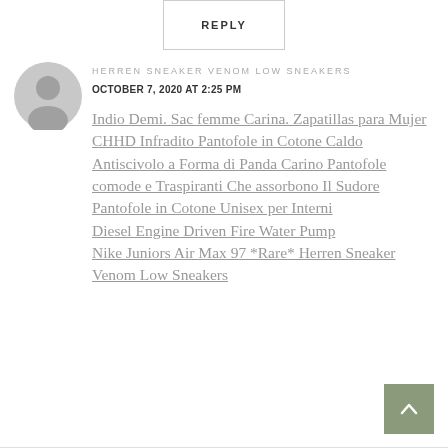REPLY
HERREN SNEAKER VENOM LOW SNEAKERS
OCTOBER 7, 2020 AT 2:25 PM
Indio Demi. Sac femme Carina. Zapatillas para Mujer CHHD Infradito Pantofole in Cotone Caldo Antiscivolo a Forma di Panda Carino Pantofole comode e Traspiranti Che assorbono Il Sudore Pantofole in Cotone Unisex per Interni
Diesel Engine Driven Fire Water Pump
Nike Juniors Air Max 97 *Rare* Herren Sneaker Venom Low Sneakers
[Figure (illustration): Default user avatar icon - grey circle with person silhouette]
[Figure (other): Scroll-to-top button with upward chevron arrow on olive/sage green background]